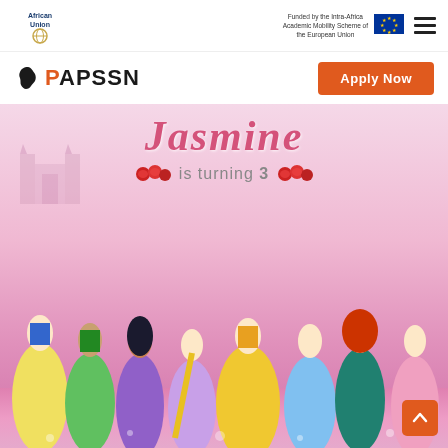African Union | Funded by the Intra-Africa Academic Mobility Scheme of the European Union
[Figure (logo): African Union logo with globe icon]
Funded by the Intra-Africa Academic Mobility Scheme of the European Union
[Figure (logo): EU flag]
[Figure (logo): Hamburger menu icon]
[Figure (logo): PAPSSN logo with Africa silhouette]
Apply Now
[Figure (photo): Birthday banner image showing Disney princesses with text 'Jasmine is turning 3' on a pink glittery background. Princesses shown include Snow White, Tiana, Jasmine, Rapunzel, Belle, Cinderella, Merida, and Aurora.]